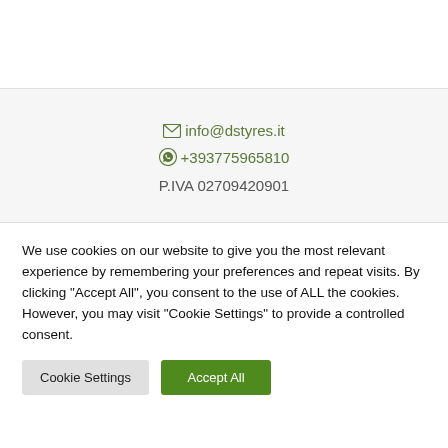info@dstyres.it
+393775965810
P.IVA 02709420901
We use cookies on our website to give you the most relevant experience by remembering your preferences and repeat visits. By clicking “Accept All”, you consent to the use of ALL the cookies. However, you may visit "Cookie Settings" to provide a controlled consent.